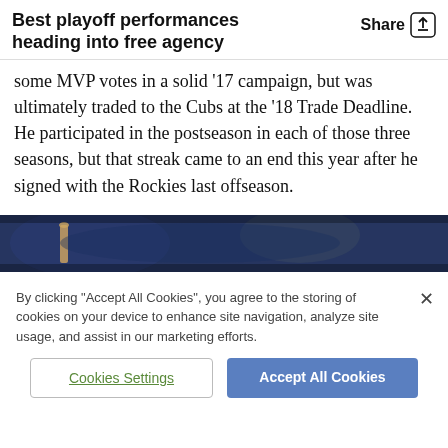Best playoff performances heading into free agency
some MVP votes in a solid '17 campaign, but was ultimately traded to the Cubs at the '18 Trade Deadline. He participated in the postseason in each of those three seasons, but that streak came to an end this year after he signed with the Rockies last offseason.
[Figure (photo): Baseball player swinging a bat with crowd in background, dark stadium lighting]
By clicking "Accept All Cookies", you agree to the storing of cookies on your device to enhance site navigation, analyze site usage, and assist in our marketing efforts.
Cookies Settings
Accept All Cookies